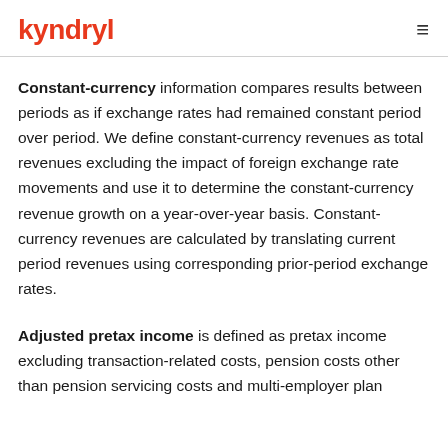kyndryl
Constant-currency information compares results between periods as if exchange rates had remained constant period over period. We define constant-currency revenues as total revenues excluding the impact of foreign exchange rate movements and use it to determine the constant-currency revenue growth on a year-over-year basis. Constant-currency revenues are calculated by translating current period revenues using corresponding prior-period exchange rates.
Adjusted pretax income is defined as pretax income excluding transaction-related costs, pension costs other than pension servicing costs and multi-employer plan